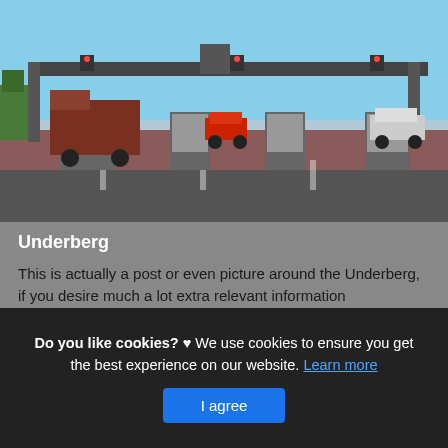[Figure (photo): Photograph of a highway toll plaza with trucks and cars queuing at toll booths under a large overhead gantry structure, blue sky in background, reddish road surface in foreground.]
Underberg
This is actually a post or even picture around the Underberg, if you desire much a lot extra relevant information approximately the short post or even graphic feel free to hit or even check out the adhering to web link or even web link .
Do you like cookies? ♥ We use cookies to ensure you get the best experience on our website. Learn more
I agree